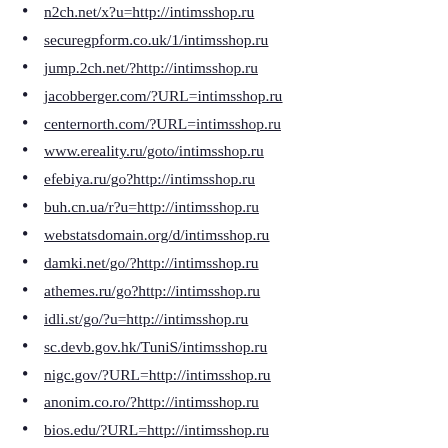n2ch.net/x?u=http://intimsshop.ru
securegpform.co.uk/1/intimsshop.ru
jump.2ch.net/?http://intimsshop.ru
jacobberger.com/?URL=intimsshop.ru
centernorth.com/?URL=intimsshop.ru
www.ereality.ru/goto/intimsshop.ru
efebiya.ru/go?http://intimsshop.ru
buh.cn.ua/r?u=http://intimsshop.ru
webstatsdomain.org/d/intimsshop.ru
damki.net/go/?http://intimsshop.ru
athemes.ru/go?http://intimsshop.ru
idli.st/go/?u=http://intimsshop.ru
sc.devb.gov.hk/TuniS/intimsshop.ru
nigc.gov/?URL=http://intimsshop.ru
anonim.co.ro/?http://intimsshop.ru
bios.edu/?URL=http://intimsshop.ru
www.heydogg.com/?URL=intimsshop.ru
seo.pablos.it/domain/intimsshop.ru